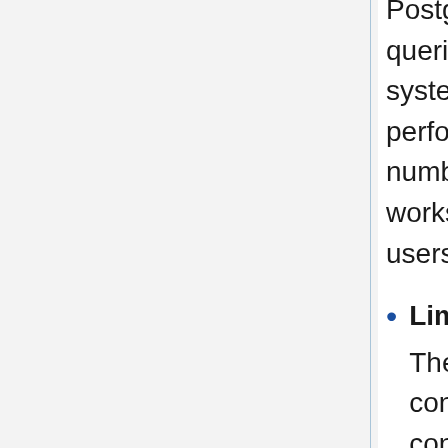PostgreSQL server by distributing SELECT queries among multiple servers, improving system's overall throughput. At best, performance improves proportionally to the number of PostgreSQL servers. Load balance works best in a situation where there are a lot of users executing many queries at the same time.
Limiting Exceeding Connections
There is a limit on the maximum number of concurrent connections with PostgreSQL, and connections are rejected after this many connections. Setting the maximum number of connections, however, increases resource consumption and affect system performance. pgpool-II also has a limit on the maximum